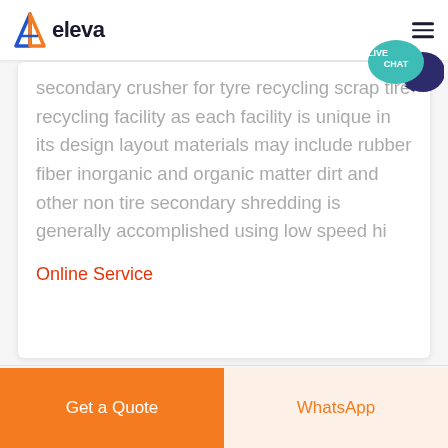eleva
secondary crusher for tyre recycling scrap tire recycling facility as each facility is unique in its design layout materials may include rubber fiber inorganic and organic matter dirt and other non tire secondary shredding is generally accomplished using low speed hi
Online Service
Get a Quote | WhatsApp